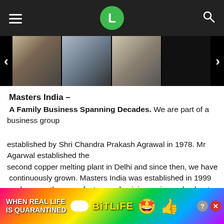L
[Figure (photo): Image carousel with three photos: business meeting with tablet, handshake, person holding question mark sign; navigation arrows on sides]
Masters India –
A Family Business Spanning Decades. We are part of a business group
established by Shri Chandra Prakash Agrawal in 1978. Mr Agarwal established the second copper melting plant in Delhi and since then, we have continuously grown. Masters India was established in 1999 and presently, manufactures aluminium wire rod, sheet and foil.  Family has manufacturing facilities in Delhi, Rajasthan and Maharas htra. W…lth
[Figure (other): Advertisement banner: 'WHEN REAL LIFE IS QUARANTINED' BitLife game ad with rainbow background, star-eyes emoji and thumbs up emoji. Close X button overlay.]